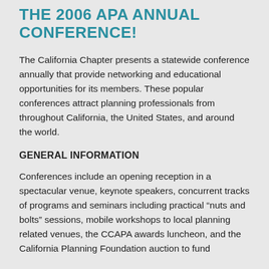THE 2006 APA ANNUAL CONFERENCE!
The California Chapter presents a statewide conference annually that provide networking and educational opportunities for its members. These popular conferences attract planning professionals from throughout California, the United States, and around the world.
GENERAL INFORMATION
Conferences include an opening reception in a spectacular venue, keynote speakers, concurrent tracks of programs and seminars including practical “nuts and bolts” sessions, mobile workshops to local planning related venues, the CCAPA awards luncheon, and the California Planning Foundation auction to fund